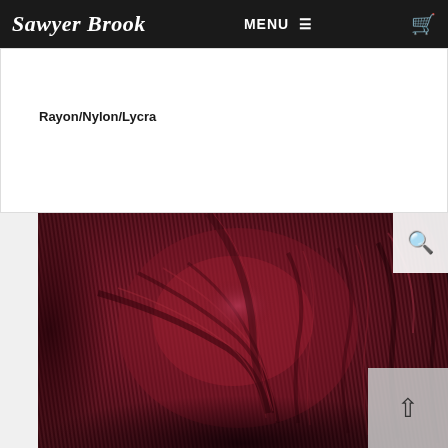Sawyer Brook  MENU  🛒
Rayon/Nylon/Lycra
59-in
[Figure (photo): Close-up photograph of a deep burgundy/wine-colored ribbed fabric (Rayon/Nylon/Lycra blend) with fine horizontal ribbing texture, draped with soft folds and creases to show its drape quality.]